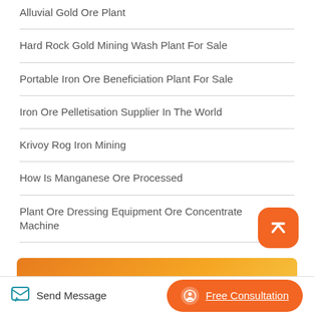Alluvial Gold Ore Plant
Hard Rock Gold Mining Wash Plant For Sale
Portable Iron Ore Beneficiation Plant For Sale
Iron Ore Pelletisation Supplier In The World
Krivoy Rog Iron Mining
How Is Manganese Ore Processed
Plant Ore Dressing Equipment Ore Concentrate Machine
[Figure (other): Orange rounded square scroll-to-top button with upward chevron icon]
[Figure (infographic): Orange gradient banner with bold white text: LOOKING FOR A RELIABLE &]
Send Message | Free Consultation